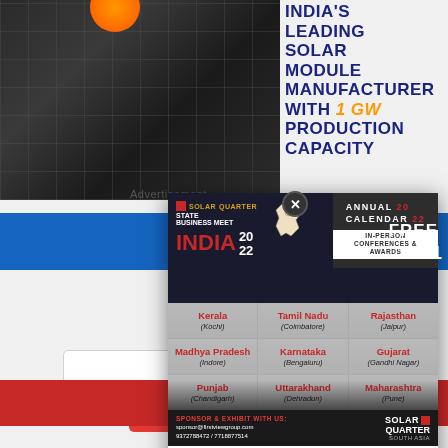[Figure (photo): Solar panel grid with orange sun/circle at top, dark background with grid pattern]
INDIA'S LEADING SOLAR MODULE MANUFACTURER WITH 1 GW PRODUCTION CAPACITY
Advertisement
[Figure (infographic): Solar Quarter State Business Meet India 2022 popup ad showing annual calendar conferences in Kerala (Kochi), Tamil Nadu (Coimbatore), Rajasthan (Jaipur), Madhya Pradesh (Indore), Karnataka (Bengaluru), Gujarat (Gandhi Nagar), Punjab (Chandigarh), Uttarakhand (Dehradun), Maharashtra (Pune). Sponsor contact: sponsor@firstviewgroup.com, 9372788472/7718877514]
Name
Join Now